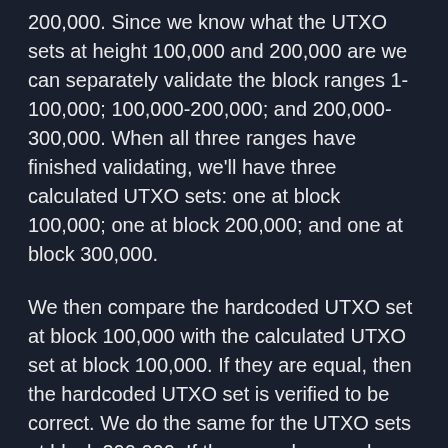200,000. Since we know what the UTXO sets at height 100,000 and 200,000 are we can separately validate the block ranges 1-100,000; 100,000-200,000; and 200,000-300,000. When all three ranges have finished validating, we'll have three calculated UTXO sets: one at block 100,000; one at block 200,000; and one at block 300,000.
We then compare the hardcoded UTXO set at block 100,000 with the calculated UTXO set at block 100,000. If they are equal, then the hardcoded UTXO set is verified to be correct. We do the same for the UTXO sets at block 200,000. If they are also equal, then we know that the latest UTXO set after the block 300,000 modification must be correct.